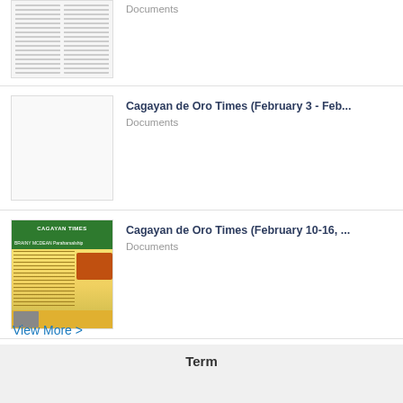Cagayan de Oro Times (February 3 - Feb...
Cagayan de Oro Times (February 10-16, ...
PROFESSIONAL REGULATION COMMIS...
View More >
Term